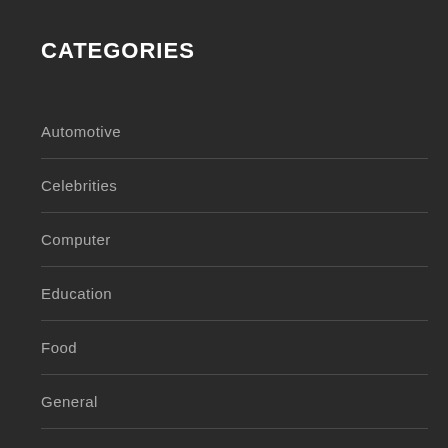CATEGORIES
Automotive
Celebrities
Computer
Education
Food
General
Holiday